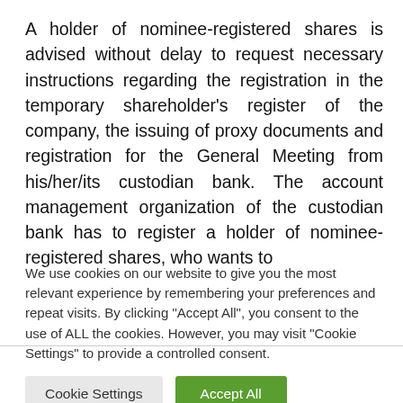A holder of nominee-registered shares is advised without delay to request necessary instructions regarding the registration in the temporary shareholder's register of the company, the issuing of proxy documents and registration for the General Meeting from his/her/its custodian bank. The account management organization of the custodian bank has to register a holder of nominee-registered shares, who wants to
We use cookies on our website to give you the most relevant experience by remembering your preferences and repeat visits. By clicking "Accept All", you consent to the use of ALL the cookies. However, you may visit "Cookie Settings" to provide a controlled consent.